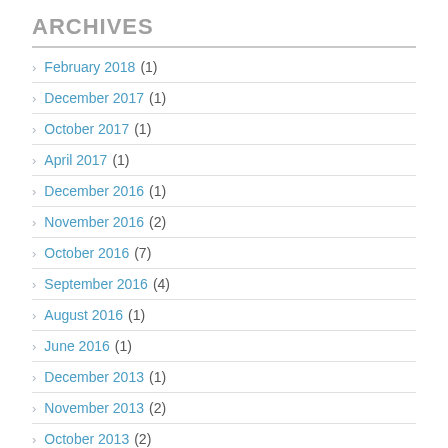ARCHIVES
February 2018 (1)
December 2017 (1)
October 2017 (1)
April 2017 (1)
December 2016 (1)
November 2016 (2)
October 2016 (7)
September 2016 (4)
August 2016 (1)
June 2016 (1)
December 2013 (1)
November 2013 (2)
October 2013 (2)